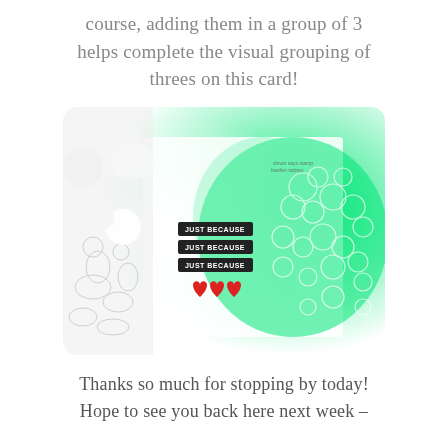course, adding them in a group of 3 helps complete the visual grouping of threes on this card!
[Figure (photo): A handmade greeting card with white embossed floral pattern on a green ink background, featuring three small black label stamps reading 'JUST BECAUSE' and three red heart embellishments, photographed at an angle on a decorative white lace background with flowers.]
Thanks so much for stopping by today! Hope to see you back here next week –